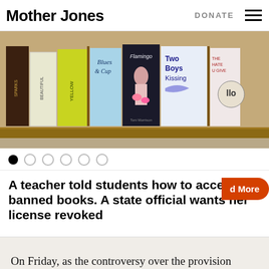Mother Jones | DONATE
[Figure (photo): A shelf of books including Flamingo, Two Boys Kissing, Blues and other titles displayed face-out on a wooden shelf]
slide navigation dots (1 active, 5 inactive)
A teacher told students how to access banned books. A state official wants her license revoked
Load More
On Friday, as the controversy over the provision escalated, Walker at first avoided discussing it. But soon Republican lawmakers who had not been part of the committee that approved the language joined the chorus of critics. However, they didn't...